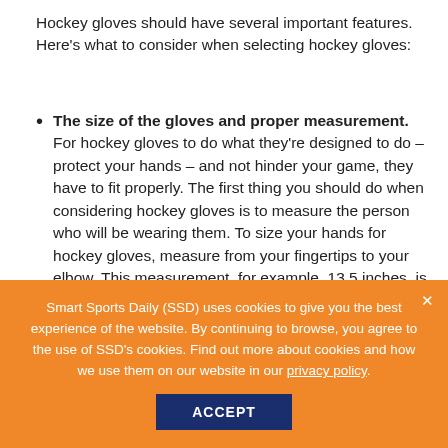Hockey gloves should have several important features. Here's what to consider when selecting hockey gloves:
The size of the gloves and proper measurement. For hockey gloves to do what they're designed to do – protect your hands – and not hinder your game, they have to fit properly. The first thing you should do when considering hockey gloves is to measure the person who will be wearing them. To size your hands for hockey gloves, measure from your fingertips to your elbow. This measurement, for example, 13.5 inches, is what you use to size gloves. In this example, go up to a 14-inch glove. How snug or loose the glove fits is mostly personal
Smart Sports Daily (SSD) uses cookies to give you the best experience of the website. By continuing to browse, you agree to the use of SSD's cookies. Find out more about cookies and how we use them on our website in our privacy policy.